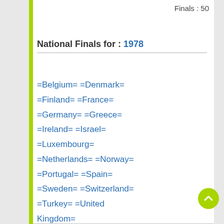Finals : 50
National Finals for : 1978
=Belgium= =Denmark= =Finland= =France= =Germany= =Greece= =Ireland= =Israel= =Luxembourg= =Netherlands= =Norway= =Portugal= =Spain= =Sweden= =Switzerland= =Turkey= =United Kingdom=